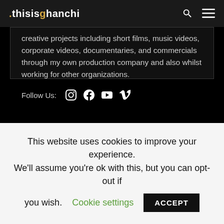.thisisghanchi
creative projects including short films, music videos, corporate videos, documentaries, and commercials through my own production company and also whilst working for other organizations.
Follow Us:
Tags
This website uses cookies to improve your experience. We'll assume you're ok with this, but you can opt-out if you wish. Cookie settings ACCEPT